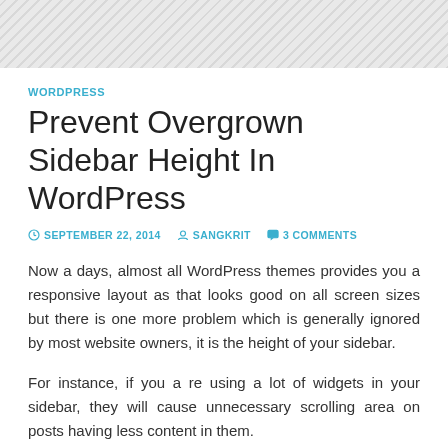WORDPRESS
Prevent Overgrown Sidebar Height In WordPress
SEPTEMBER 22, 2014   SANGKRIT   3 COMMENTS
Now a days, almost all WordPress themes provides you a responsive layout as that looks good on all screen sizes but there is one more problem which is generally ignored by most website owners, it is the height of your sidebar.
For instance, if you a re using a lot of widgets in your sidebar, they will cause unnecessary scrolling area on posts having less content in them.